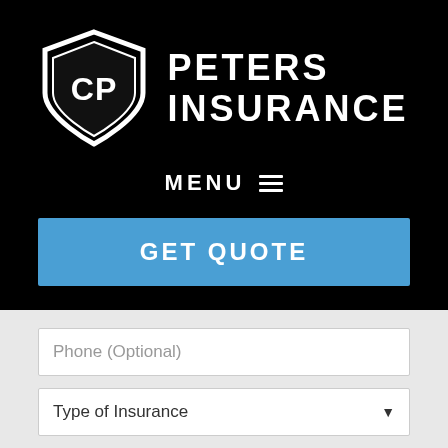[Figure (logo): CP Peters Insurance logo: a shield with 'CP' inside and 'PETERS INSURANCE' text to the right, white on black background]
MENU ≡
GET QUOTE
Phone (Optional)
Type of Insurance